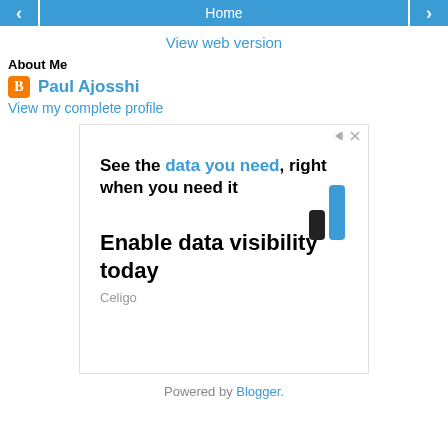< Home >
View web version
About Me
Paul Ajosshi
View my complete profile
[Figure (screenshot): Advertisement banner: 'See the data you need, right when you need it' with blue bar chart graphic. 'Enable data visibility today' - Celigo]
Powered by Blogger.